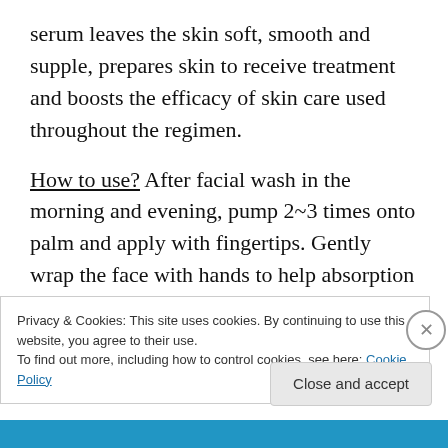serum leaves the skin soft, smooth and supple, prepares skin to receive treatment and boosts the efficacy of skin care used throughout the regimen.
How to use? After facial wash in the morning and evening, pump 2~3 times onto palm and apply with fingertips. Gently wrap the face with hands to help absorption of the product.
Essential Balancing Water – Formulated with Korean Medicinal Herbs, this gel-textured water balances and [continues below fold]
Privacy & Cookies: This site uses cookies. By continuing to use this website, you agree to their use.
To find out more, including how to control cookies, see here: Cookie Policy